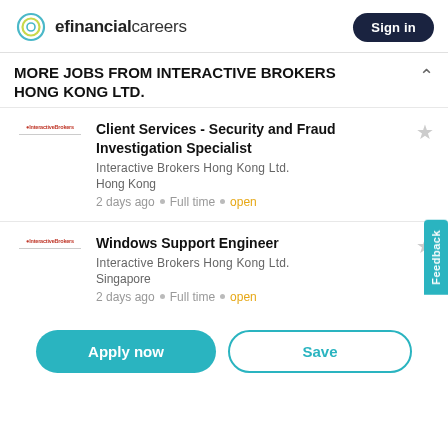efinancialcareers | Sign in
MORE JOBS FROM INTERACTIVE BROKERS HONG KONG LTD.
Client Services - Security and Fraud Investigation Specialist
Interactive Brokers Hong Kong Ltd.
Hong Kong
2 days ago • Full time • open
Windows Support Engineer
Interactive Brokers Hong Kong Ltd.
Singapore
2 days ago • Full time • open
Apply now | Save